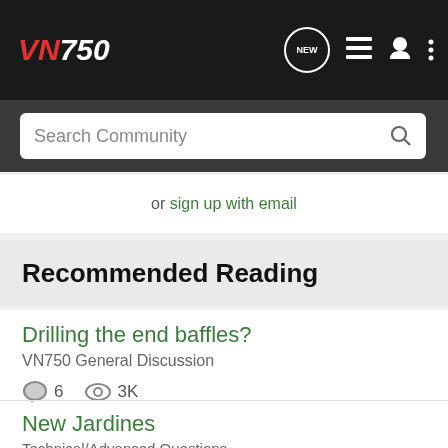VN750 — navigation bar with NEW, list, profile, and menu icons
Search Community
or sign up with email
Recommended Reading
Drilling the end baffles?
VN750 General Discussion
6  3K
vn750rider · updated Apr 13, 2006
New Jardines
Technical/Advanced Questions